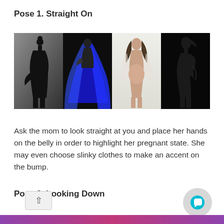Pose 1. Straight On
[Figure (photo): Four maternity photography photos showing pregnant women posing straight on. Photo 1: silhouette of a woman with hair bun on gray background. Photo 2: woman in flowing blue dress on dark background. Photo 3: woman in sheer white fabric on light background. Photo 4: silhouette profile on black background.]
Ask the mom to look straight at you and place her hands on the belly in order to highlight her pregnant state. She may even choose slinky clothes to make an accent on the bump.
Pose 2. Looking Down